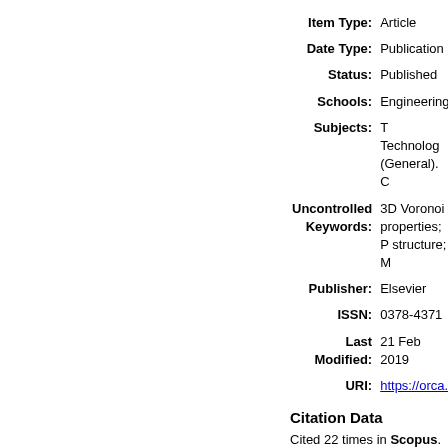| Label | Value |
| --- | --- |
| Item Type: | Article |
| Date Type: | Publication |
| Status: | Published |
| Schools: | Engineering |
| Subjects: | T Technology (General). C |
| Uncontrolled Keywords: | 3D Voronoi properties; P structure; M |
| Publisher: | Elsevier |
| ISSN: | 0378-4371 |
| Last Modified: | 21 Feb 2019 |
| URI: | https://orca. |
Citation Data
Cited 22 times in Scopus. View in Scopus. Powered By Scopus® Data
Actions (repository staff only)